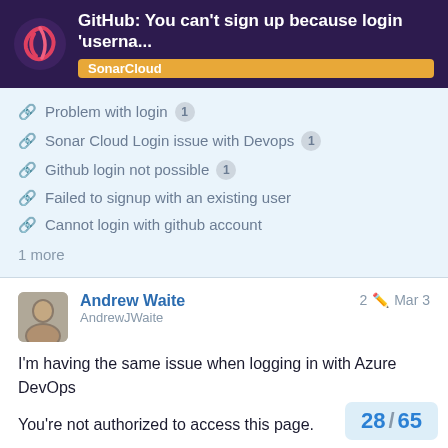GitHub: You can't sign up because login 'userna... | SonarCloud
Problem with login 1
Sonar Cloud Login issue with Devops 1
Github login not possible 1
Failed to signup with an existing user
Cannot login with github account
1 more
Andrew Waite
AndrewJWaite
2 Mar 3
I'm having the same issue when logging in with Azure DevOps

You're not authorized to access this page.

Reason: You can't sign up because login 'andrew.waite@amido.com' is already use
28 / 65